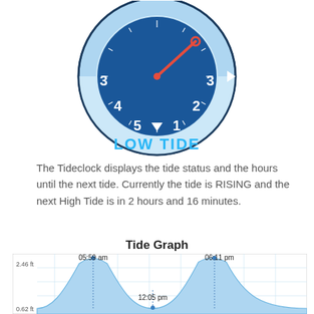[Figure (other): A tide clock diagram showing a circular clock face with dark blue center displaying numbers 1-5 and a red hand pointing toward '2'. The outer ring shows 'LOW TIDE' in cyan text at the bottom, with a light blue arc and arrow indicating tide direction.]
The Tideclock displays the tide status and the hours until the next tide. Currently the tide is RISING and the next High Tide is in 2 hours and 16 minutes.
Tide Graph
[Figure (continuous-plot): Tide graph showing two high tide peaks labeled '05:59 am' (2.46 ft) and '06:11 pm', with a low tide valley labeled '12:05 pm' (0.62 ft). The curve is a smooth sinusoidal wave filled with light blue.]